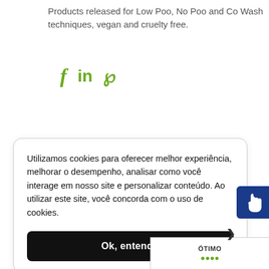Products released for Low Poo, No Poo and Co Wash techniques, vegan and cruelty free.
[Figure (other): Social media share icons: Facebook (f), LinkedIn (in), Pinterest (P) in green color]
Utilizamos cookies para oferecer melhor experiência, melhorar o desempenho, analisar como você interage em nosso site e personalizar conteúdo. Ao utilizar este site, você concorda com o uso de cookies.
Ok, entendi!